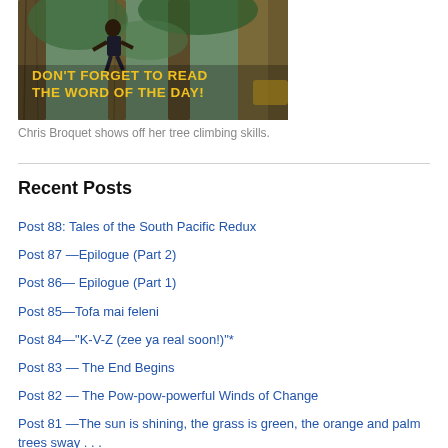[Figure (photo): Person climbing a palm tree in a tropical forest setting with text overlay reading DON'T FORGET TO READ THE WORD OF THE DAY! in yellow bold capital letters]
Chris Broquet shows off her tree climbing skills.
Recent Posts
Post 88: Tales of the South Pacific Redux
Post 87 —Epilogue (Part 2)
Post 86— Epilogue (Part 1)
Post 85—Tofa mai feleni
Post 84—"K-V-Z (zee ya real soon!)"*
Post 83 — The End Begins
Post 82 — The Pow-pow-powerful Winds of Change
Post 81 —The sun is shining, the grass is green, the orange and palm trees sway . . .